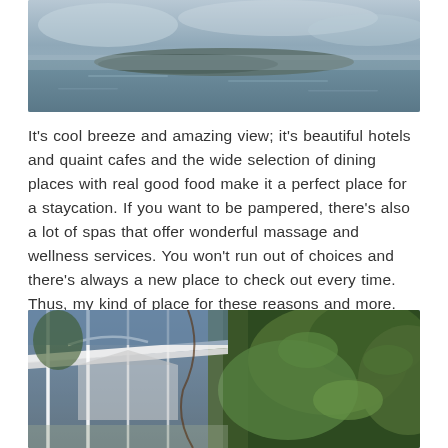[Figure (photo): Aerial or distant view of a lake or body of water with mist and landmass in the background, taken on a cloudy/overcast day.]
It's cool breeze and amazing view; it's beautiful hotels and quaint cafes and the wide selection of dining places with real good food make it a perfect place for a staycation. If you want to be pampered, there's also a lot of spas that offer wonderful massage and wellness services. You won't run out of choices and there's always a new place to check out every time. Thus, my kind of place for these reasons and more.
[Figure (photo): Outdoor garden or cafe area with white metal pergola/canopy structure, lush green trees and plants, viewed from the side.]